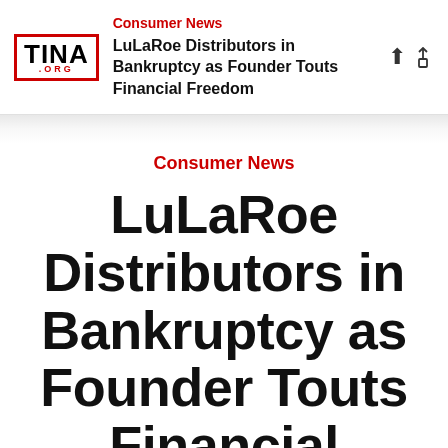Consumer News | LuLaRoe Distributors in Bankruptcy as Founder Touts Financial Freedom
Consumer News
LuLaRoe Distributors in Bankruptcy as Founder Touts Financial Freedom